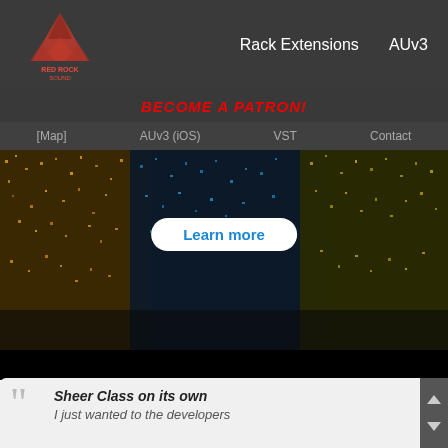[Figure (logo): Red rock audio plugin brand logo — red geometric mountain/triangle shape with text below]
Rack Extensions   AUv3
BECOME A PATRON!
[Map]   AUv3 (iOS)   VST   Contact
[Figure (photo): Abstract textured banner image with yellow, blue, and teal speckled particle/noise pattern on dark background]
Learn more
Sheer Class on its own
I just wanted to the developers
[Figure (screenshot): Black video player area (embedded video player with dark background)]